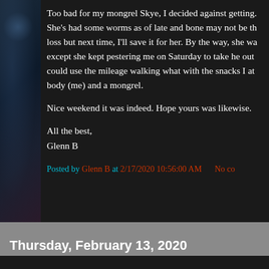Too bad for my mongrel Skye, I decided against getting. She's had some worms as of late and bone may not be the loss but next time, I'll save it for her. By the way, she wa except she kept pestering me on Saturday to take he out could use the mileage walking what with the snacks I at body (me) and a mongrel.
Nice weekend it was indeed. Hope yours was likewise.
All the best,
Glenn B
Posted by Glenn B at 2/17/2020 10:56:00 AM   No co...
Thursday, February 13, 2020